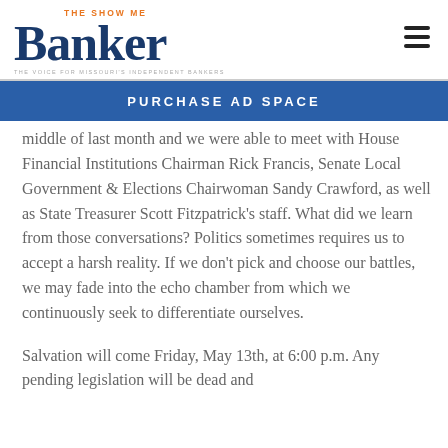The Show Me Banker — THE VOICE FOR MISSOURI'S INDEPENDENT BANKERS
[Figure (logo): The Show Me Banker logo — stylized 'Banker' in dark navy with 'THE SHOW ME' above in orange/gray, tagline below]
PURCHASE AD SPACE
middle of last month and we were able to meet with House Financial Institutions Chairman Rick Francis, Senate Local Government & Elections Chairwoman Sandy Crawford, as well as State Treasurer Scott Fitzpatrick's staff. What did we learn from those conversations? Politics sometimes requires us to accept a harsh reality. If we don't pick and choose our battles, we may fade into the echo chamber from which we continuously seek to differentiate ourselves.
Salvation will come Friday, May 13th, at 6:00 p.m. Any pending legislation will be dead and